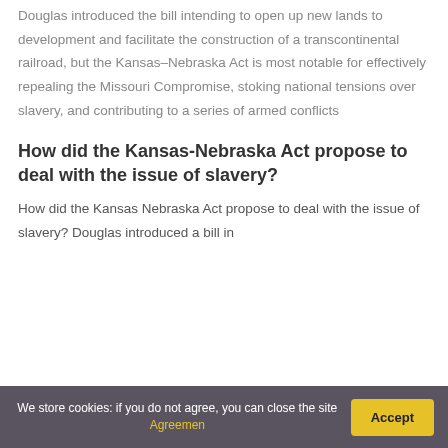Douglas introduced the bill intending to open up new lands to development and facilitate the construction of a transcontinental railroad, but the Kansas–Nebraska Act is most notable for effectively repealing the Missouri Compromise, stoking national tensions over slavery, and contributing to a series of armed conflicts
How did the Kansas-Nebraska Act propose to deal with the issue of slavery?
How did the Kansas Nebraska Act propose to deal with the issue of slavery? Douglas introduced a bill in
We store cookies: if you do not agree, you can close the site Agreemen